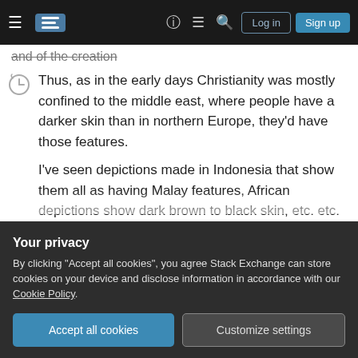Stack Exchange navigation bar with Log in and Sign up buttons
and of the creation
Thus, as in the early days Christianity was mostly confined to the middle east, where people have a darker skin than in northern Europe, they'd have those features.

I've seen depictions made in Indonesia that show them all as having Malay features, African depictions show dark brown to black skin, etc. etc. etc.

The European "standard" I've indeed heard was based on Borgia's representation, and with the large scale sending of priests around the world from
Your privacy

By clicking "Accept all cookies", you agree Stack Exchange can store cookies on your device and disclose information in accordance with our Cookie Policy.

Accept all cookies   Customize settings